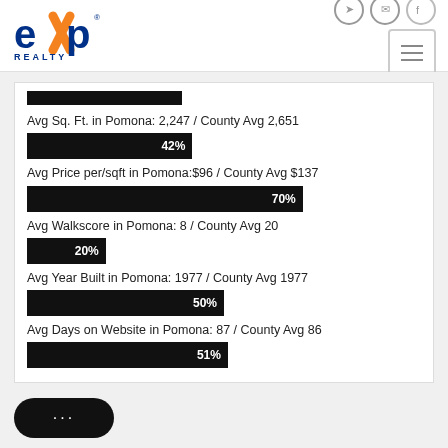[Figure (logo): eXp Realty logo — blue 'exp' text with orange X, 'REALTY' below]
Avg Sq. Ft. in Pomona: 2,247 / County Avg 2,651
[Figure (bar-chart): Avg Sq. Ft. in Pomona vs County Avg]
Avg Price per/sqft in Pomona:$96 / County Avg $137
[Figure (bar-chart): Avg Price per/sqft in Pomona vs County Avg]
Avg Walkscore in Pomona: 8 / County Avg 20
[Figure (bar-chart): Avg Walkscore in Pomona vs County Avg]
Avg Year Built in Pomona: 1977 / County Avg 1977
[Figure (bar-chart): Avg Year Built in Pomona vs County Avg]
Avg Days on Website in Pomona: 87 / County Avg 86
[Figure (bar-chart): Avg Days on Website in Pomona vs County Avg]